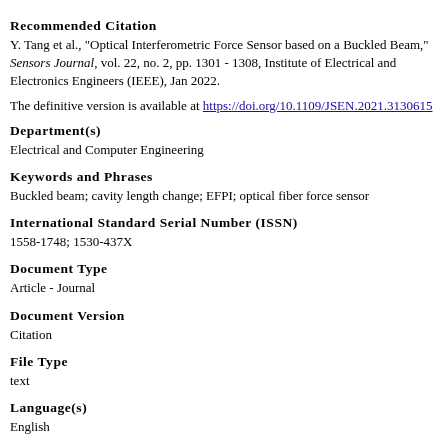Recommended Citation
Y. Tang et al., "Optical Interferometric Force Sensor based on a Buckled Beam," Sensors Journal, vol. 22, no. 2, pp. 1301 - 1308, Institute of Electrical and Electronics Engineers (IEEE), Jan 2022.
The definitive version is available at https://doi.org/10.1109/JSEN.2021.3130615
Department(s)
Electrical and Computer Engineering
Keywords and Phrases
Buckled beam; cavity length change; EFPI; optical fiber force sensor
International Standard Serial Number (ISSN)
1558-1748; 1530-437X
Document Type
Article - Journal
Document Version
Citation
File Type
text
Language(s)
English
Rights
© 2022 Institute of Electrical and Electronics Engineers (IEEE), All rights
Publication Date